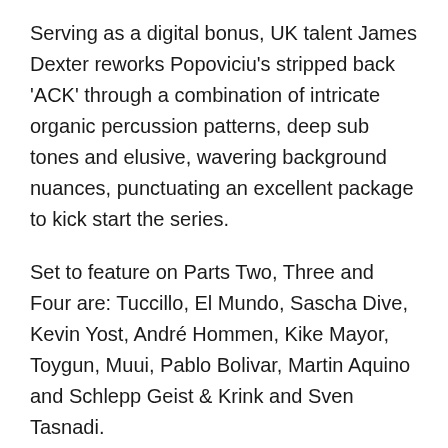Serving as a digital bonus, UK talent James Dexter reworks Popoviciu's stripped back 'ACK' through a combination of intricate organic percussion patterns, deep sub tones and elusive, wavering background nuances, punctuating an excellent package to kick start the series.
Set to feature on Parts Two, Three and Four are: Tuccillo, El Mundo, Sascha Dive, Kevin Yost, André Hommen, Kike Mayor, Toygun, Muui, Pablo Bolivar, Martin Aquino and Schlepp Geist & Krink and Sven Tasnadi.
Mihai Popoviciu 'Home Remixes Part One' is out on Bondage-Music on the 5th May 2017 (Vinyl) and 22nd May (Digital).